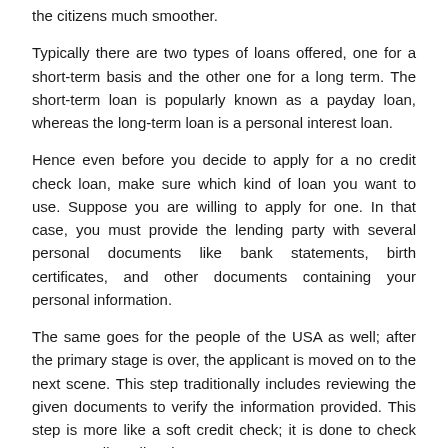the citizens much smoother.
Typically there are two types of loans offered, one for a short-term basis and the other one for a long term. The short-term loan is popularly known as a payday loan, whereas the long-term loan is a personal interest loan.
Hence even before you decide to apply for a no credit check loan, make sure which kind of loan you want to use. Suppose you are willing to apply for one. In that case, you must provide the lending party with several personal documents like bank statements, birth certificates, and other documents containing your personal information.
The same goes for the people of the USA as well; after the primary stage is over, the applicant is moved on to the next scene. This step traditionally includes reviewing the given documents to verify the information provided. This step is more like a soft credit check; it is done to check your overall credit points.
Improve Your Credit Score Before You Apply